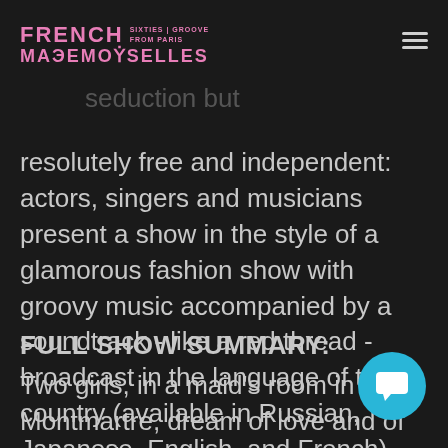French Mademoiselles | Sixties Groove from Paris
...of Paris through history, always at the heart of seduction but resolutely free and independent: actors, singers and musicians present a show in the style of a glamorous fashion show with groovy music accompanied by a soundtrack - like a red thread - broadcast in the language of the country (available in Russian, Japanese, English, and French).
FULL SHOW SUMMARY:
Two girls, in a maid's room in Montmartre, dream of love and of conquering Paris. They have one last tin can (which they heat on a camping stove) to share. Behind